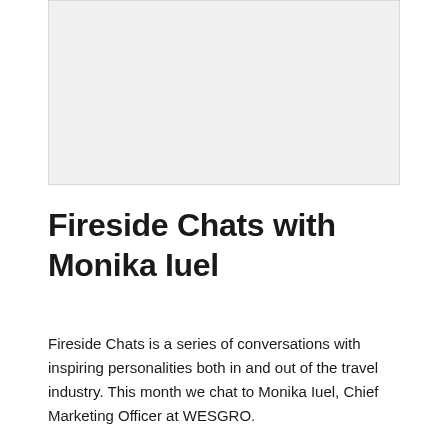[Figure (photo): A large blank/light gray rectangular image placeholder occupying the top portion of the page]
Fireside Chats with Monika Iuel
Fireside Chats is a series of conversations with inspiring personalities both in and out of the travel industry. This month we chat to Monika Iuel, Chief Marketing Officer at WESGRO.